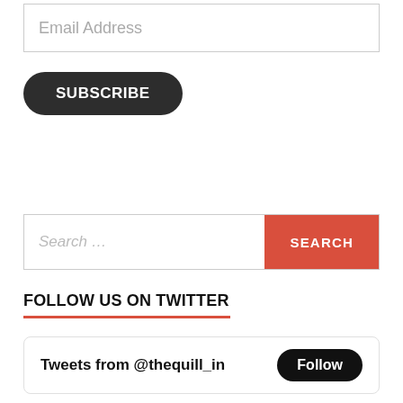Email Address
SUBSCRIBE
Search...
SEARCH
FOLLOW US ON TWITTER
Tweets from @thequill_in
Follow